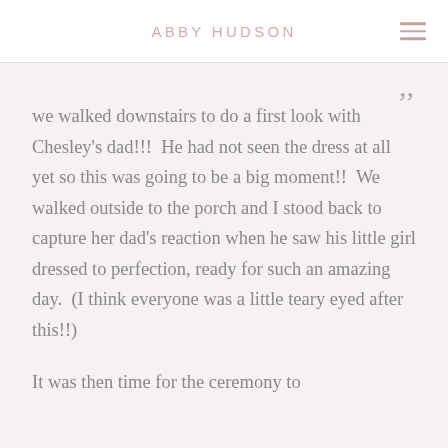ABBY HUDSON
we walked downstairs to do a first look with Chesley's dad!!!  He had not seen the dress at all yet so this was going to be a big moment!!  We walked outside to the porch and I stood back to capture her dad's reaction when he saw his little girl dressed to perfection, ready for such an amazing day.  (I think everyone was a little teary eyed after this!!)
It was then time for the ceremony to